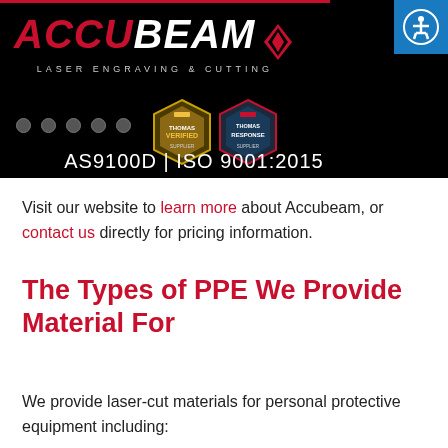[Figure (logo): Accubeam Laser Engraving & Cutting logo on black background with Thomas Verified and Thomas COVID-19 Response supplier badges, and AS9100D | ISO 9001:2015 certification text]
Visit our website to learn more about Accubeam, or contact us directly for pricing information.
The Types of PPE We Provide Material For
We provide laser-cut materials for personal protective equipment including: